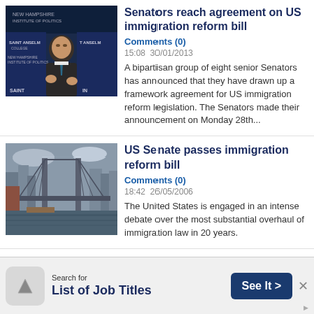[Figure (photo): A man in a suit speaking at a podium with Saint Anselm College banners in the background]
Senators reach agreement on US immigration reform bill
Comments (0)
15:08  30/01/2013
A bipartisan group of eight senior Senators has announced that they have drawn up a framework agreement for US immigration reform legislation. The Senators made their announcement on Monday 28th...
[Figure (photo): A bridge over a river with city buildings in the background]
US Senate passes immigration reform bill
Comments (0)
18:42  26/05/2006
The United States is engaged in an intense debate over the most substantial overhaul of immigration law in 20 years.
Search for
List of Job Titles
See It >